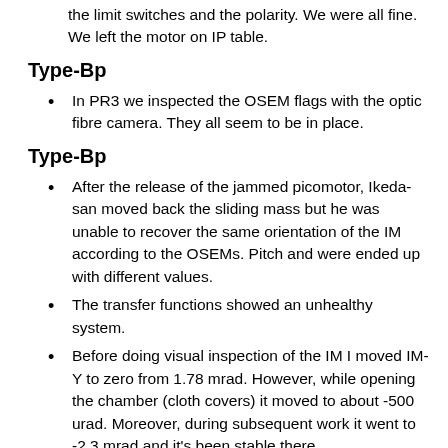the limit switches and the polarity. We were all fine. We left the motor on IP table.
Type-Bp
In PR3 we inspected the OSEM flags with the optic fibre camera. They all seem to be in place.
Type-Bp
After the release of the jammed picomotor, Ikeda-san moved back the sliding mass but he was unable to recover the same orientation of the IM according to the OSEMs. Pitch and were ended up with different values.
The transfer functions showed an unhealthy system.
Before doing visual inspection of the IM I moved IM-Y to zero from 1.78 mrad. However, while opening the chamber (cloth covers) it moved to about -500 urad. Moreover, during subsequent work it went to -2.3 mrad and it's been stable there.
A few OSEM flags seem to be touching the OSEM bodies. Their positions are consistent with the large amount of yaw measured.